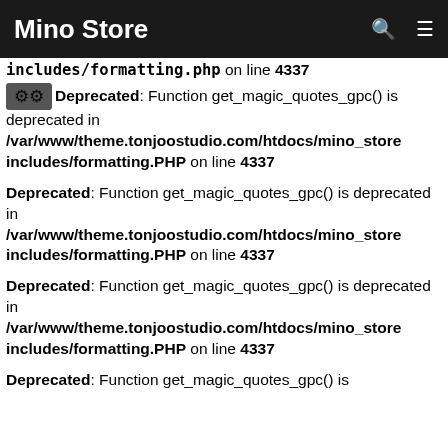Mino Store
includes/formatting.php on line 4337
Deprecated: Function get_magic_quotes_gpc() is deprecated in /var/www/theme.tonjoostudio.com/htdocs/mino_store includes/formatting.PHP on line 4337
Deprecated: Function get_magic_quotes_gpc() is deprecated in /var/www/theme.tonjoostudio.com/htdocs/mino_store includes/formatting.PHP on line 4337
Deprecated: Function get_magic_quotes_gpc() is deprecated in /var/www/theme.tonjoostudio.com/htdocs/mino_store includes/formatting.PHP on line 4337
Deprecated: Function get_magic_quotes_gpc() is